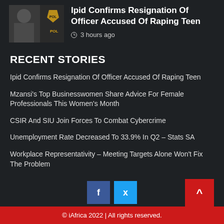[Figure (photo): Police officer thumbnail image with police badge/uniform visible]
Ipid Confirms Resignation Of Officer Accused Of Raping Teen
3 hours ago
RECENT STORIES
Ipid Confirms Resignation Of Officer Accused Of Raping Teen
Mzansi's Top Businesswomen Share Advice For Female Professionals This Women's Month
CSIR And SIU Join Forces To Combat Cybercrime
Unemployment Rate Decreased To 33.9% In Q2 – Stats SA
Workplace Representativity – Meeting Targets Alone Won't Fix The Problem
© iAfrica 2022 | All rights reserved.